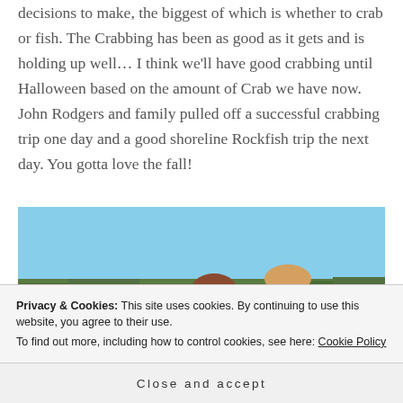decisions to make, the biggest of which is whether to crab or fish. The Crabbing has been as good as it gets and is holding up well… I think we'll have good crabbing until Halloween based on the amount of Crab we have now. John Rodgers and family pulled off a successful crabbing trip one day and a good shoreline Rockfish trip the next day. You gotta love the fall!
[Figure (photo): Three people (children/young adults) sitting on a boat on a calm lake or bay, with blue sky and tree-lined shore visible in the background.]
Privacy & Cookies: This site uses cookies. By continuing to use this website, you agree to their use.
To find out more, including how to control cookies, see here: Cookie Policy
Close and accept